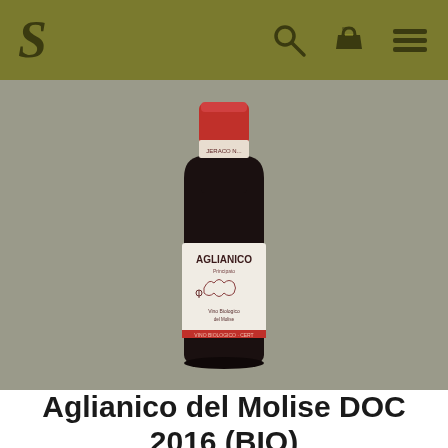S
[Figure (photo): A wine bottle with a dark body, red capsule top, and white label reading 'AGLIANICO' with decorative illustration. The bottle appears to be Aglianico del Molise DOC 2016 BIO organic wine, shown against a grey background.]
Aglianico del Molise DOC 2016 (BIO)